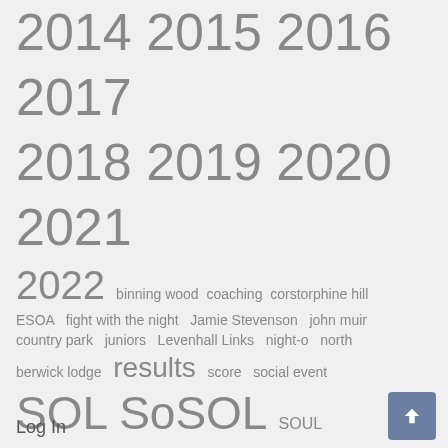2014 2015 2016 2017 2018 2019 2020 2021 2022 binning wood coaching corstorphine hill ESOA fight with the night Jamie Stevenson john muir country park juniors Levenhall Links night-o north berwick lodge results score social event SOL SoSOL SOUL Sprintelope suitable for families suitable for newcomers trophy Vogrie Country Park web site
Search
Log In